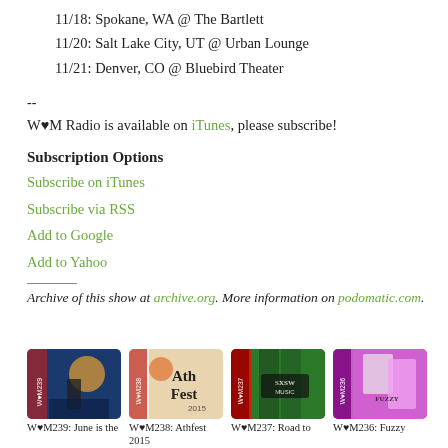11/18: Spokane, WA @ The Bartlett
11/20: Salt Lake City, UT @ Urban Lounge
11/21: Denver, CO @ Bluebird Theater
--
W♥M Radio is available on iTunes, please subscribe!
Subscription Options
Subscribe on iTunes
Subscribe via RSS
Add to Google
Add to Yahoo
Archive of this show at archive.org. More information on podomatic.com.
[Figure (photo): Four thumbnail images of podcast episodes: WvM239 June is the..., WvM238 Athfest 2015, WvM237 Road to..., WvM236 Fuzzy...]